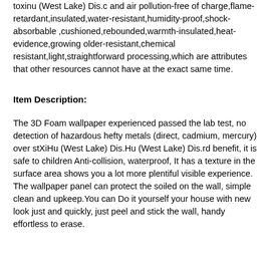toxinu (West Lake) Dis.c and air pollution-free of charge,flame-retardant,insulated,water-resistant,humidity-proof,shock-absorbable ,cushioned,rebounded,warmth-insulated,heat-evidence,growing older-resistant,chemical resistant,light,straightforward processing,which are attributes that other resources cannot have at the exact same time.
Item Description:
The 3D Foam wallpaper experienced passed the lab test, no detection of hazardous hefty metals (direct, cadmium, mercury) over stXiHu (West Lake) Dis.Hu (West Lake) Dis.rd benefit, it is safe to children Anti-collision, waterproof, It has a texture in the surface area shows you a lot more plentiful visible experience. The wallpaper panel can protect the soiled on the wall, simple clean and upkeep.You can Do it yourself your house with new look just and quickly, just peel and stick the wall, handy effortless to erase.